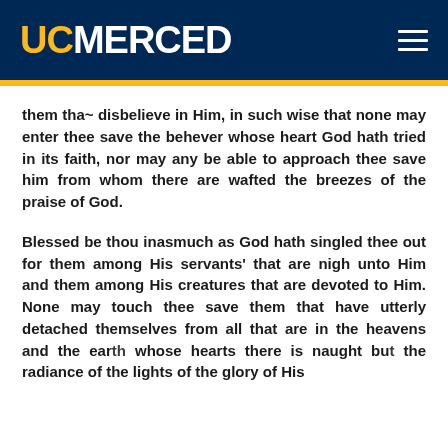UC MERCED
them tha~ disbelieve in Him, in such wise that none may enter thee save the behever whose heart God hath tried in its faith, nor may any be able to approach thee save him from whom there are wafted the breezes of the praise of God.
Blessed be thou inasmuch as God hath singled thee out for them among His servants' that are nigh unto Him and them among His creatures that are devoted to Him. None may touch thee save them that have utterly detached themselves from all that are in the heavens and the earth whose hearts there is naught but the radiance of the lights of the glory of His